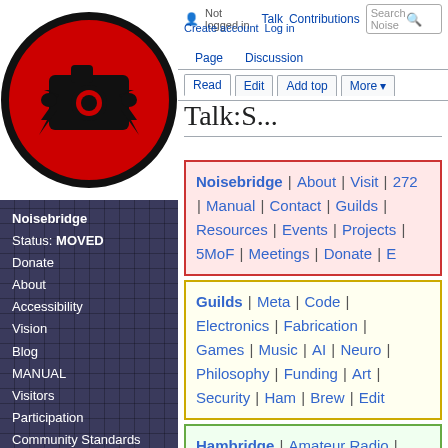[Figure (logo): Noisebridge logo: red circle with black border containing a black puzzle piece / camera icon with lightning bolts]
Noisebridge
Status: MOVED
Donate
About
Accessibility
Vision
Blog
MANUAL
Visitors
Participation
Community Standards
Channels
Operations
EVENTS
Not logged in  Talk  Contributions  Create account  Log in  Search Noise
Talk:S...
Noisebridge | About | Visit | 272 | Manual | Contact | Guilds | Resources | Events | Projects | 5MoF | Meetings | Donate | E
Guilds | Meta | Code | Electronics | Fabrication | Games | Music | AI | Neuro | Philosophy | Funding | Art | Security | Ham | Brew | Edit
Hambridge | Amateur Radio | Radio-Scanners | Essential